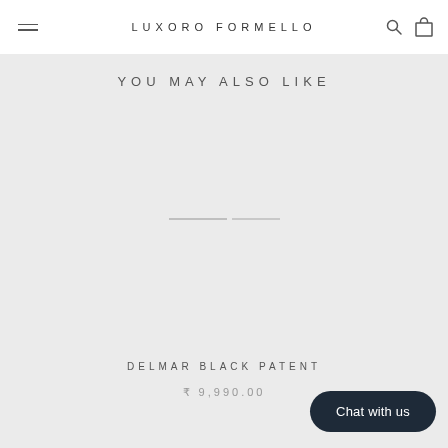LUXORO FORMELLO
YOU MAY ALSO LIKE
[Figure (photo): Product image placeholder for Delmar Black Patent shoe]
DELMAR BLACK PATENT
₹ 9,990.00
Chat with us